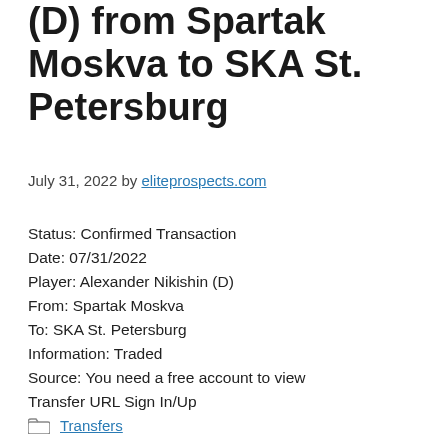(D) from Spartak Moskva to SKA St. Petersburg
July 31, 2022 by eliteprospects.com
Status: Confirmed Transaction
Date: 07/31/2022
Player: Alexander Nikishin (D)
From: Spartak Moskva
To: SKA St. Petersburg
Information: Traded
Source: You need a free account to view Transfer URL Sign In/Up
Transfers